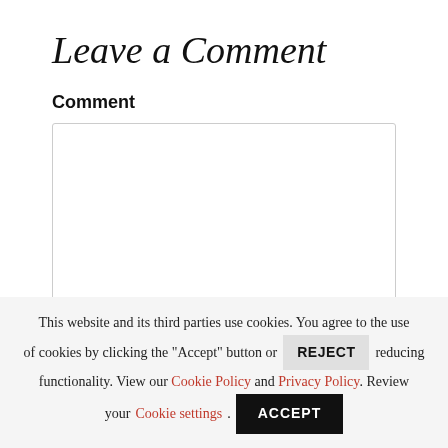Leave a Comment
Comment
[Figure (screenshot): Empty textarea input box with resize handle in bottom-right corner]
This website and its third parties use cookies. You agree to the use of cookies by clicking the "Accept" button or REJECT reducing functionality. View our Cookie Policy and Privacy Policy. Review your Cookie settings. ACCEPT